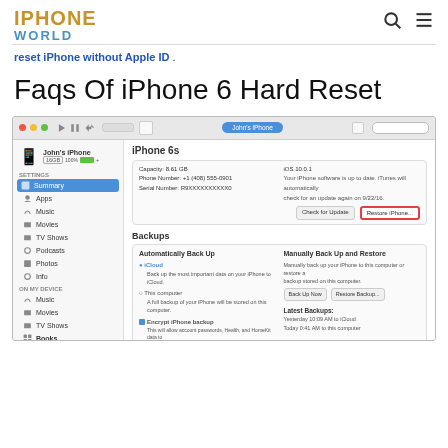IPHONE WORLD
reset iPhone without Apple ID .
Faqs Of iPhone 6 Hard Reset
[Figure (screenshot): iTunes application screenshot showing iPhone 6s summary page with backup options and Restore iPhone button highlighted in red border]